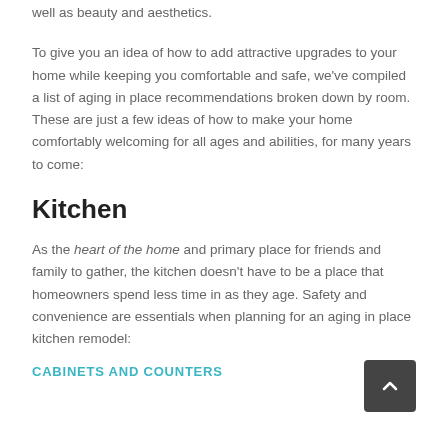well as beauty and aesthetics.
To give you an idea of how to add attractive upgrades to your home while keeping you comfortable and safe, we've compiled a list of aging in place recommendations broken down by room. These are just a few ideas of how to make your home comfortably welcoming for all ages and abilities, for many years to come:
Kitchen
As the heart of the home and primary place for friends and family to gather, the kitchen doesn't have to be a place that homeowners spend less time in as they age. Safety and convenience are essentials when planning for an aging in place kitchen remodel:
CABINETS AND COUNTERS